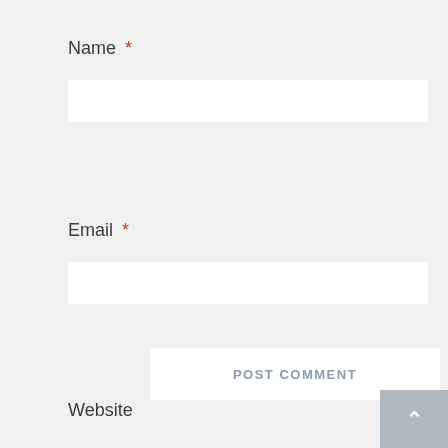Name *
Email *
Website
Title
Title
POST COMMENT